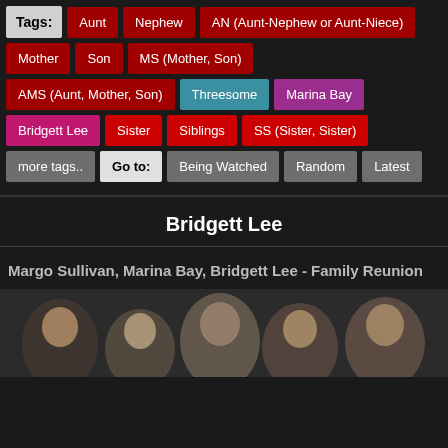Tags: Aunt | Nephew | AN (Aunt-Nephew or Aunt-Niece)
Mother | Son | MS (Mother, Son)
AMS (Aunt, Mother, Son) | Threesome | Marina Bay
Bridgett Lee | Sister | Siblings | SS (Sister, Sister)
more tags.. | Go to: | Being Watched | Random | Latest
Bridgett Lee
Margo Sullivan, Marina Bay, Bridgett Lee - Family Reunion
[Figure (photo): A group photo strip showing multiple people in close proximity]